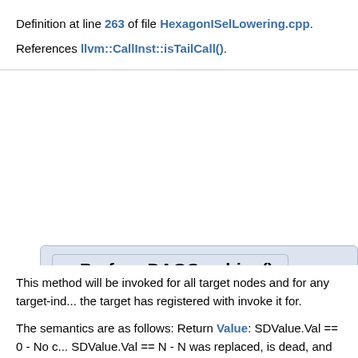Definition at line 263 of file HexagonISelLowering.cpp.
References llvm::CallInst::isTailCall().
◆ PerformDAGCombine()
SDValue
HexagonTargetLowering::PerformDAGCombine ( SDNode *
 DAGCombinerInfo
 )
This method will be invoked for all target nodes and for any target-independent nodes that the target has registered with invoke it for.
The semantics are as follows: Return Value: SDValue.Val == 0 - No change. SDValue.Val == N - N was replaced, is dead, and is already handled. SDValue.Val == N - N should be replaced by the returned Operand.
In addition, methods provided by DAGCombinerInfo may be used to transformations.